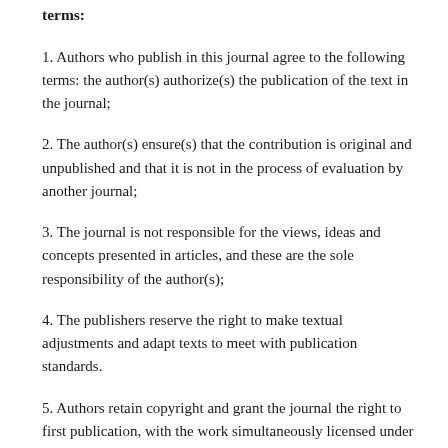terms:
1. Authors who publish in this journal agree to the following terms: the author(s) authorize(s) the publication of the text in the journal;
2. The author(s) ensure(s) that the contribution is original and unpublished and that it is not in the process of evaluation by another journal;
3. The journal is not responsible for the views, ideas and concepts presented in articles, and these are the sole responsibility of the author(s);
4. The publishers reserve the right to make textual adjustments and adapt texts to meet with publication standards.
5. Authors retain copyright and grant the journal the right to first publication, with the work simultaneously licensed under the Creative Commons Atribuição-NãoComercial 4.0